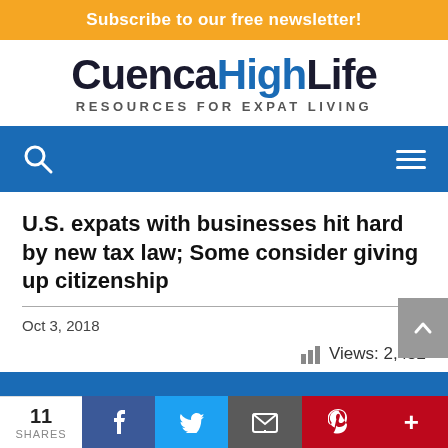Subscribe to our free newsletter!
[Figure (logo): CuencaHighLife logo with tagline RESOURCES FOR EXPAT LIVING]
[Figure (screenshot): Blue navigation bar with search icon and hamburger menu]
U.S. expats with businesses hit hard by new tax law; Some consider giving up citizenship
Oct 3, 2018
Views: 2,452
11 SHARES